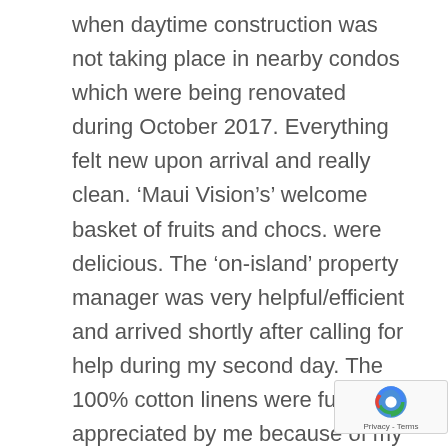when daytime construction was not taking place in nearby condos which were being renovated during October 2017. Everything felt new upon arrival and really clean. ‘Maui Vision’s’ welcome basket of fruits and chocs. were delicious. The ‘on-island’ property manager was very helpful/efficient and arrived shortly after calling for help during my second day. The 100% cotton linens were fully appreciated by me because of my sensitive skin. So many lovely pool/beach towels and bathroom towels were thick and fluffy. I loved the fact that the whole condo had floor tiles and no carpeting; much easier to clean especially after windy days and cooler. I would recommend this particular condo C313 to everyone. Note all the condos have